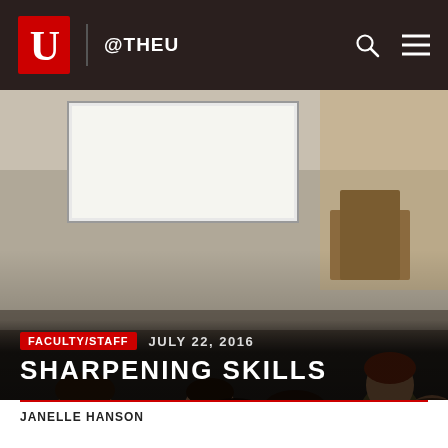@THEU
[Figure (photo): People seated in a modern conference/classroom setting viewed from behind, facing a large projection screen at the front of the room.]
FACULTY/STAFF   JULY 22, 2016
SHARPENING SKILLS
JANELLE HANSON